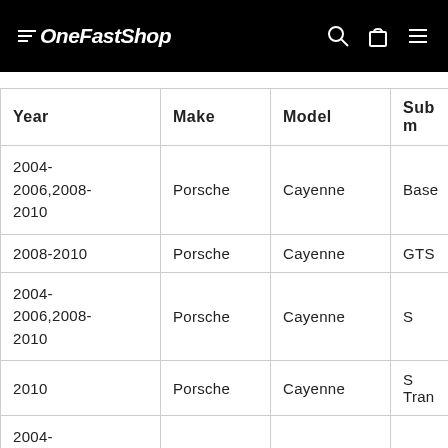OneFastShop
| Year | Make | Model | Submodel |
| --- | --- | --- | --- |
| 2004-2006,2008-2010 | Porsche | Cayenne | Base |
| 2008-2010 | Porsche | Cayenne | GTS |
| 2004-2006,2008-2010 | Porsche | Cayenne | S |
| 2010 | Porsche | Cayenne | S Transaxle |
| 2004-2006,2008-2010 | Porsche | Cayenne | Turbo |